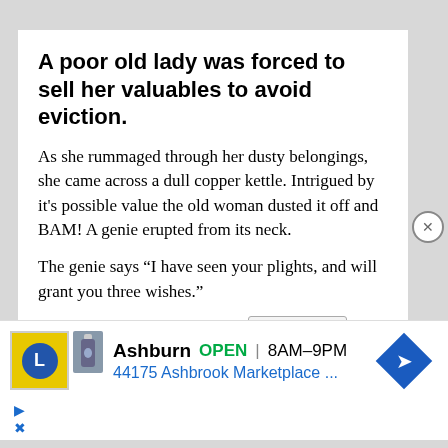A poor old lady was forced to sell her valuables to avoid eviction.
As she rummaged through her dusty belongings, she came across a dull copper kettle. Intrigued by it's possible value the old woman dusted it off and BAM! A genie erupted from its neck.
The genie says “I have seen your plights, and will grant you three wishes.”
The woman, astounded, thi…
[Figure (infographic): Advertisement bar showing Lidl store info: Ashburn OPEN 8AM-9PM, 44175 Ashbrook Marketplace..., with navigation arrow icon]